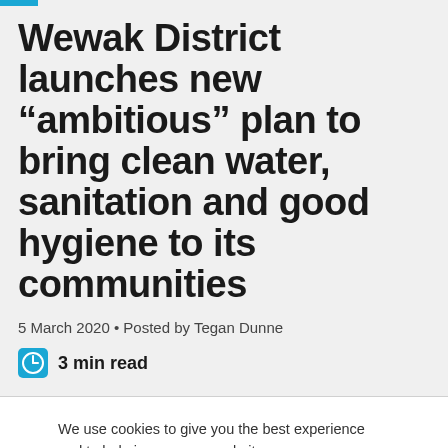Wewak District launches new “ambitious” plan to bring clean water, sanitation and good hygiene to its communities
5 March 2020 • Posted by Tegan Dunne
3 min read
We use cookies to give you the best experience and to help improve our website.
Accept cookies
More info about cookies